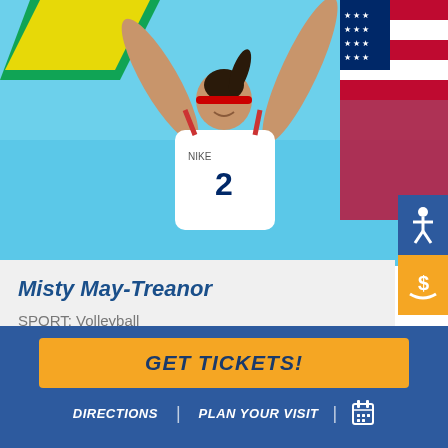[Figure (photo): Athlete Misty May-Treanor celebrating with flags raised overhead, wearing white Nike sports top with number 2 and red headband, blue sky background]
Misty May-Treanor
SPORT: Volleyball
BORN: 07.30.1977 | Los Angeles, California
Misty May-Treanor was a college star at indoor volleyball, then successfully transitioned to one of the best beach volleyball careers of
GET TICKETS!
DIRECTIONS | PLAN YOUR VISIT